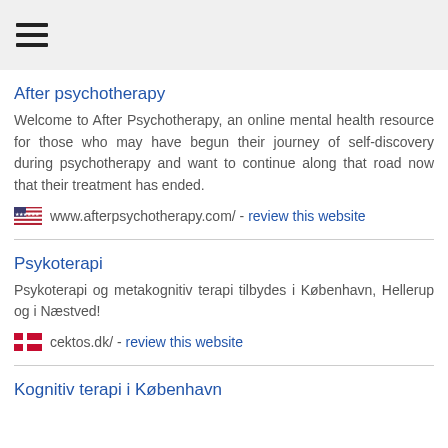☰ (hamburger menu)
After psychotherapy
Welcome to After Psychotherapy, an online mental health resource for those who may have begun their journey of self-discovery during psychotherapy and want to continue along that road now that their treatment has ended.
www.afterpsychotherapy.com/ - review this website
Psykoterapi
Psykoterapi og metakognitiv terapi tilbydes i København, Hellerup og i Næstved!
cektos.dk/ - review this website
Kognitiv terapi i København